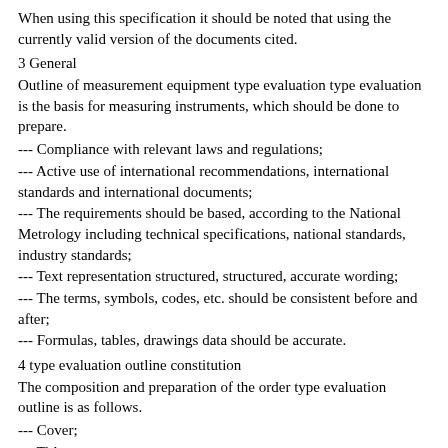When using this specification it should be noted that using the currently valid version of the documents cited.
3 General
Outline of measurement equipment type evaluation type evaluation is the basis for measuring instruments, which should be done to prepare.
--- Compliance with relevant laws and regulations;
--- Active use of international recommendations, international standards and international documents;
--- The requirements should be based, according to the National Metrology including technical specifications, national standards, industry standards;
--- Text representation structured, structured, accurate wording;
--- The terms, symbols, codes, etc. should be consistent before and after;
--- Formulas, tables, drawings data should be accurate.
4 type evaluation outline constitution
The composition and preparation of the order type evaluation outline is as follows.
--- Cover;
--- Title page;
---table of Contents;
---introduction;
---range;
---Citation;